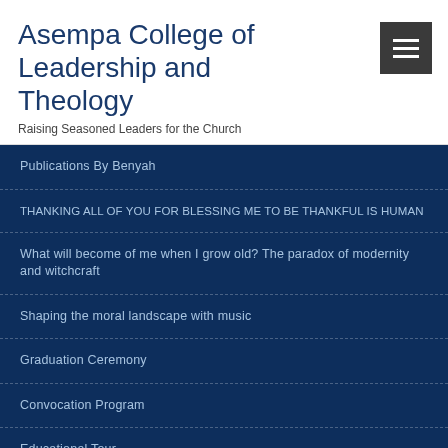Asempa College of Leadership and Theology
Raising Seasoned Leaders for the Church
Publications By Benyah
THANKING ALL OF YOU FOR BLESSING ME TO BE THANKFUL IS HUMAN
What will become of me when I grow old? The paradox of modernity and witchcraft
Shaping the moral landscape with music
Graduation Ceremony
Convocation Program
Educational Tour
FOOTER LINK